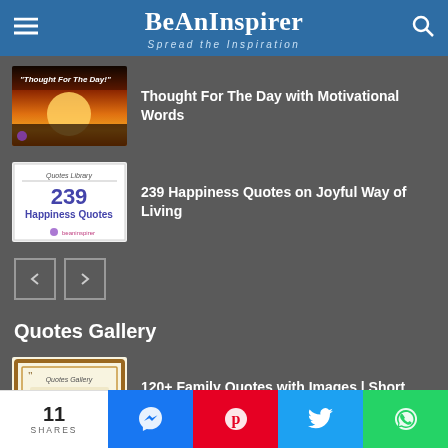BeAnInspirer — Spread the Inspiration
[Figure (screenshot): Thumbnail for 'Thought For The Day!' post — sunset image with text overlay]
Thought For The Day with Motivational Words
[Figure (screenshot): Thumbnail for '239 Happiness Quotes' — white card with purple text on Quotes Library]
239 Happiness Quotes on Joyful Way of Living
[Figure (screenshot): Navigation previous/next buttons]
Quotes Gallery
[Figure (screenshot): Thumbnail for 'Family Quotes' — ornate frame with red text on cream background]
120+ Family Quotes with Images | Short Quotes to Show Love for Your Family
11 SHARES — Messenger, Pinterest, Twitter, WhatsApp share buttons